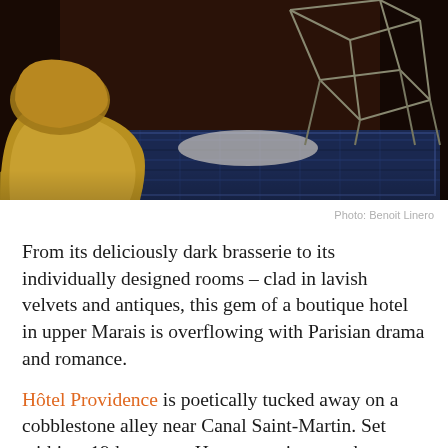[Figure (photo): Interior photo of a boutique hotel room showing a yellow/gold velvet armchair on the left, a decorative blue patterned rug, and a geometric metal wireframe side table or sculpture on the right, set against a dark brown/mahogany background.]
Photo: Benoit Linero
From its deliciously dark brasserie to its individually designed rooms – clad in lavish velvets and antiques, this gem of a boutique hotel in upper Marais is overflowing with Parisian drama and romance.
Hôtel Providence is poetically tucked away on a cobblestone alley near Canal Saint-Martin. Set within a 19th-century Haussmannian townhouse – lavishly renovated by architect